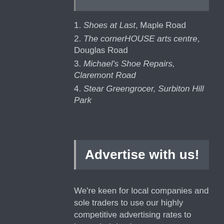1. Shoes at Last, Maple Road
2. The cornerHOUSE arts centre, Douglas Road
3. Michael's Shoe Repairs, Claremont Road
4. Stear Greengrocer, Surbiton Hill Park
Advertise with us!
We're keen for local companies and sole traders to use our highly competitive advertising rates to boost their business.